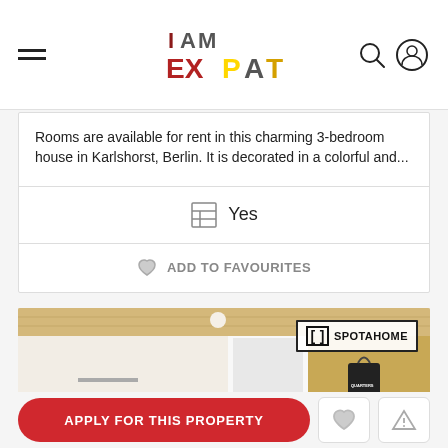I AM EXPAT — navigation header with hamburger menu, logo, search and user icons
Rooms are available for rent in this charming 3-bedroom house in Karlshorst, Berlin. It is decorated in a colorful and...
Yes
ADD TO FAVOURITES
[Figure (photo): Interior room photo showing white walls, wooden plank ceiling, a door, wooden pegboard wall with black tote bag labeled QUARTERS, and a small shelf with colorful items. Spotahome logo badge in top right corner.]
APPLY FOR THIS PROPERTY